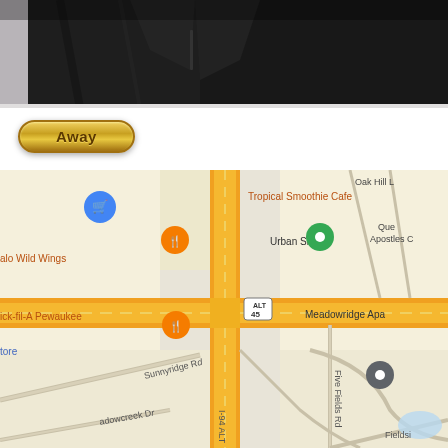[Figure (photo): Partial view of a person wearing a black jacket/suit, cropped to show the torso area against a grey background.]
[Figure (other): A golden pill-shaped button with the label 'Away' in dark brown bold text.]
[Figure (map): Google Maps screenshot showing a street intersection in Pewaukee area with I-94 ALT and Route 45. Visible labels include: Tropical Smoothie Cafe, Urban Slopes, Buffalo Wild Wings, Chick-fil-A Pewaukee, Meadowridge Apartments, Oak Hill, Que Apostles C, Sunnyridge Rd, Meadowcreek Dr, Five Fields Rd. Blue shopping cart pin, orange restaurant pins, and green location pin visible.]